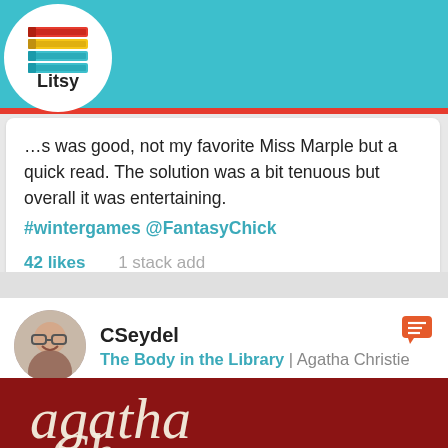[Figure (screenshot): Litsy app logo with stacked colorful books and 'Litsy' text in a white circle]
[Figure (screenshot): Litsy app navigation bar with home, search, plus, lightning, and profile icons on teal background with color stripes]
...s was good, not my favorite Miss Marple but a quick read. The solution was a bit tenuous but overall it was entertaining. #wintergames @FantasyChick
42 likes   1 stack add
CSeydel
The Body in the Library | Agatha Christie
[Figure (photo): Book cover with dark red background and white cursive 'Agatha Christie' signature text]